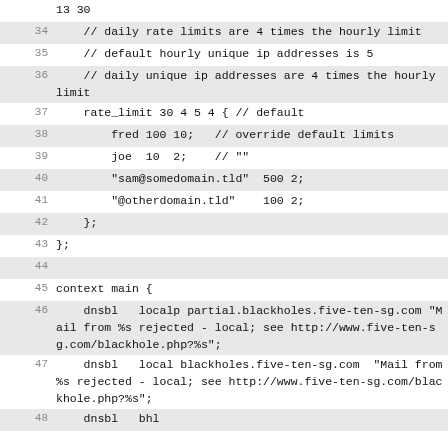Code listing lines 33-48 showing rate_limit configuration and context main block with dnsbl entries
34: // daily rate limits are 4 times the hourly limit
35: // default hourly unique ip addresses is 5
36: // daily unique ip addresses are 4 times the hourly limit
37: rate_limit 30 4 5 4 { // default
38: fred 100 10; // override default limits
39: joe 10 2; // ""
40: "sam@somedomain.tld" 500 2;
41: "@otherdomain.tld" 100 2;
42: };
43: };
44:
45: context main {
46: dnsbl localp partial.blackholes.five-ten-sg.com "Mail from %s rejected - local; see http://www.five-ten-sg.com/blackhole.php?%s";
47: dnsbl local blackholes.five-ten-sg.com "Mail from %s rejected - local; see http://www.five-ten-sg.com/blackhole.php?%s";
48: dnsbl ...